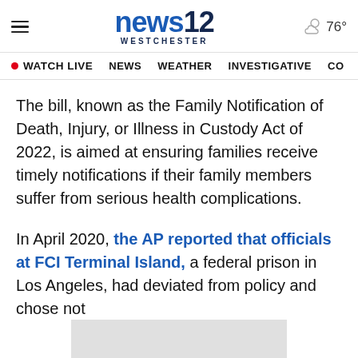news12 WESTCHESTER — 76°
WATCH LIVE  NEWS  WEATHER  INVESTIGATIVE  CO
The bill, known as the Family Notification of Death, Injury, or Illness in Custody Act of 2022, is aimed at ensuring families receive timely notifications if their family members suffer from serious health complications.
In April 2020, the AP reported that officials at FCI Terminal Island, a federal prison in Los Angeles, had deviated from policy and chose not [to notify families of 50 confirmed with the virus].